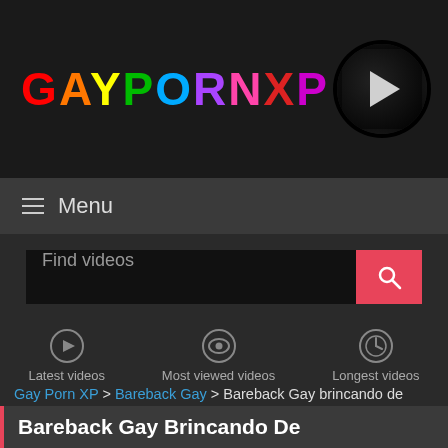[Figure (logo): GAYPORNXP logo with rainbow-colored letters and a circular play button icon with rainbow border]
≡ Menu
Find videos
[Figure (infographic): Three navigation icons: Latest videos (play circle), Most viewed videos (eye circle), Longest videos (clock circle)]
Gay Porn XP > Bareback Gay > Bareback Gay brincando de
Bareback Gay Brincando De